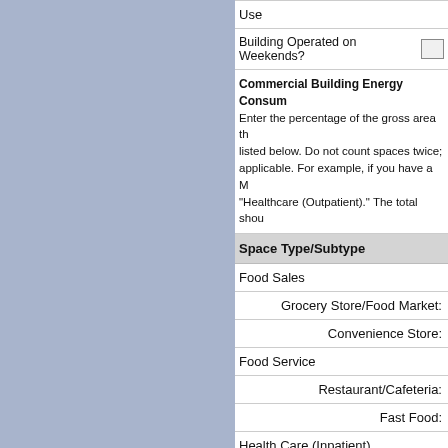Use
Building Operated on Weekends?
Commercial Building Energy Consumption Survey
Enter the percentage of the gross area that is dedicated to each of the space types listed below. Do not count spaces twice; each space should only be listed once, if applicable. For example, if you have a Medical Office, you should classify it under "Healthcare (Outpatient)." The total should equal 100%.
| Space Type/Subtype |
| --- |
| Food Sales |
| Grocery Store/Food Market: |
| Convenience Store: |
| Food Service |
| Restaurant/Cafeteria: |
| Fast Food: |
| Health Care (Inpatient) |
| Specialty Hospital: |
| Acute Care Hospital: |